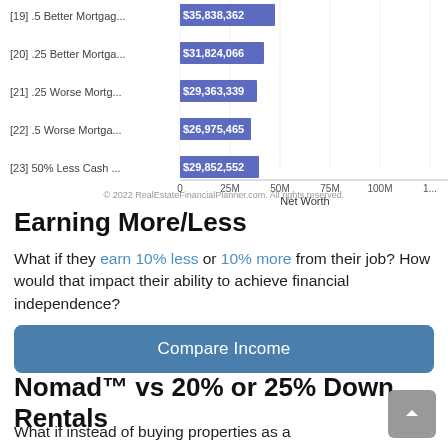[Figure (bar-chart): Net Worth]
© 2022 RealEstateFinancialPlanner.com. All rights reserved.
Earning More/Less
What if they earn 10% less or 10% more from their job? How would that impact their ability to achieve financial independence?
Compare Income
Nomad™ vs 20% or 25% Down Rentals
What if instead of buying properties as a